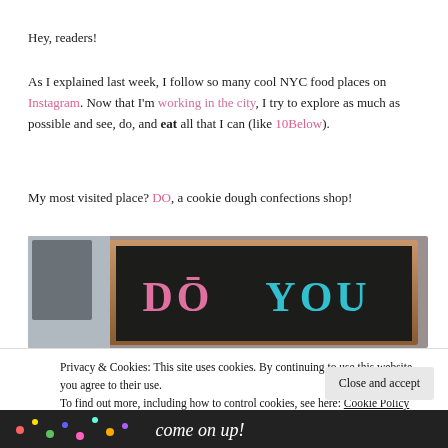Hey, readers!
As I explained last week, I follow so many cool NYC food places on Instagram. Now that I'm working in the city, I try to explore as much as possible and see, do, and eat all that I can (like 10Below).
My most visited place? DO, a cookie dough confections shop!
[Figure (photo): Chalkboard sign in a storefront window with pink and teal chalk letters reading 'DO YOU']
Privacy & Cookies: This site uses cookies. By continuing to use this website, you agree to their use.
To find out more, including how to control cookies, see here: Cookie Policy
[Figure (photo): Bottom portion of a photo showing colorful sprinkles and a 'come on up!' sign]